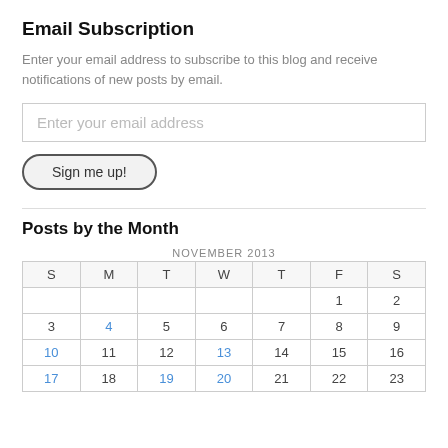Email Subscription
Enter your email address to subscribe to this blog and receive notifications of new posts by email.
[Figure (other): Email address input field with placeholder 'Enter your email address']
[Figure (other): Button labeled 'Sign me up!']
Posts by the Month
| S | M | T | W | T | F | S |
| --- | --- | --- | --- | --- | --- | --- |
|  |  |  |  |  | 1 | 2 |
| 3 | 4 | 5 | 6 | 7 | 8 | 9 |
| 10 | 11 | 12 | 13 | 14 | 15 | 16 |
| 17 | 18 | 19 | 20 | 21 | 22 | 23 |